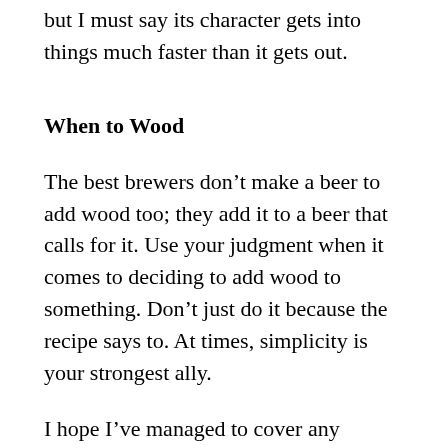but I must say its character gets into things much faster than it gets out.
When to Wood
The best brewers don't make a beer to add wood too; they add it to a beer that calls for it. Use your judgment when it comes to deciding to add wood to something. Don't just do it because the recipe says to. At times, simplicity is your strongest ally.
I hope I've managed to cover any questions you may have about the addition of wood to your brewing. If you have any additional questions or would like to submit a topic for me to cover